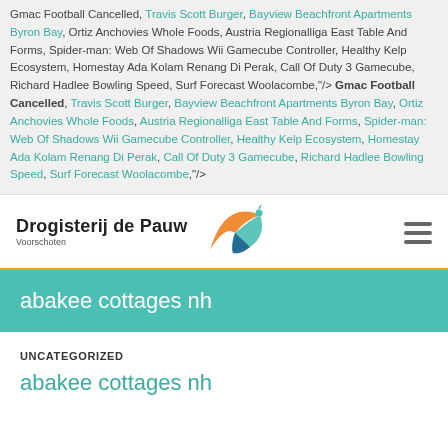Gmac Football Cancelled, Travis Scott Burger, Bayview Beachfront Apartments Byron Bay, Ortiz Anchovies Whole Foods, Austria Regionalliga East Table And Forms, Spider-man: Web Of Shadows Wii Gamecube Controller, Healthy Kelp Ecosystem, Homestay Ada Kolam Renang Di Perak, Call Of Duty 3 Gamecube, Richard Hadlee Bowling Speed, Surf Forecast Woolacombe,"/> Gmac Football Cancelled, Travis Scott Burger, Bayview Beachfront Apartments Byron Bay, Ortiz Anchovies Whole Foods, Austria Regionalliga East Table And Forms, Spider-man: Web Of Shadows Wii Gamecube Controller, Healthy Kelp Ecosystem, Homestay Ada Kolam Renang Di Perak, Call Of Duty 3 Gamecube, Richard Hadlee Bowling Speed, Surf Forecast Woolacombe,"/>
[Figure (logo): Drogisterij de Pauw Voorschoten logo with orange/teal peacock graphic and hamburger menu icon]
abakee cottages nh
UNCATEGORIZED
abakee cottages nh